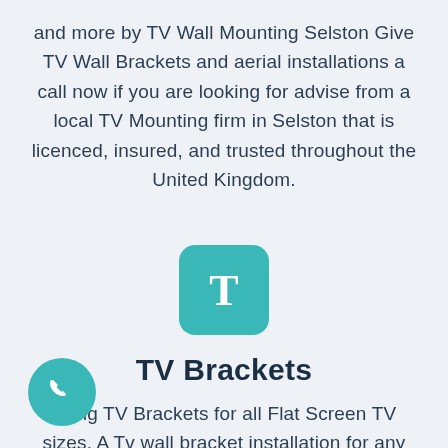and more by TV Wall Mounting Selston Give TV Wall Brackets and aerial installations a call now if you are looking for advise from a local TV Mounting firm in Selston that is licenced, insured, and trusted throughout the United Kingdom.
[Figure (logo): Teal rounded square icon with a white letter T in the center]
TV Brackets
azing TV Brackets for all Flat Screen TV sizes. A Tv wall bracket installation for any
[Figure (illustration): Teal circular phone call button in the bottom left corner with a white phone handset icon]